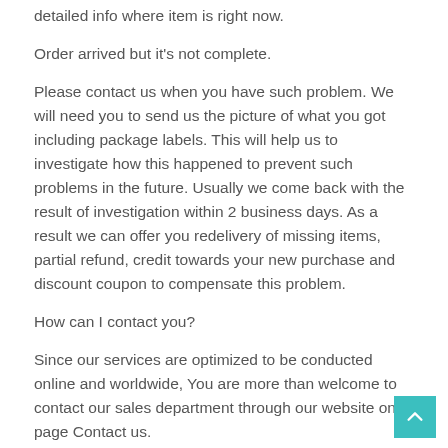detailed info where item is right now.
Order arrived but it's not complete.
Please contact us when you have such problem. We will need you to send us the picture of what you got including package labels. This will help us to investigate how this happened to prevent such problems in the future. Usually we come back with the result of investigation within 2 business days. As a result we can offer you redelivery of missing items, partial refund, credit towards your new purchase and discount coupon to compensate this problem.
How can I contact you?
Since our services are optimized to be conducted online and worldwide, You are more than welcome to contact our sales department through our website on page Contact us.